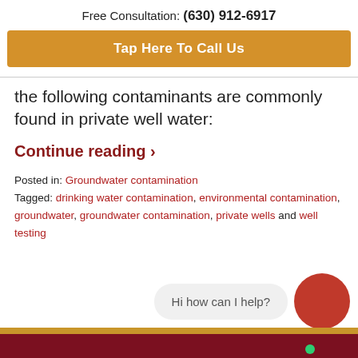Free Consultation: (630) 912-6917
Tap Here To Call Us
the following contaminants are commonly found in private well water:
Continue reading ›
Posted in: Groundwater contamination
Tagged: drinking water contamination, environmental contamination, groundwater, groundwater contamination, private wells and well testing